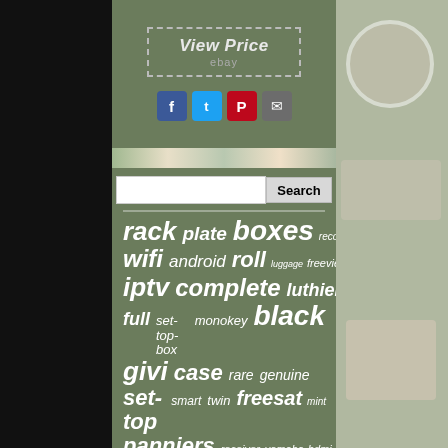[Figure (screenshot): View Price button with dashed border and ebay text below, on olive/green background]
[Figure (infographic): Social sharing icons: Facebook (blue), Twitter (blue), Pinterest (red), Email (grey)]
[Figure (infographic): Word cloud on olive green background with words: rack, plate, boxes, recorder, wifi, android, roll, luggage, freeview, iptv, complete, luthier, wood, full, set-top-box, monokey, black, givi, case, rare, genuine, set-top, smart, twin, freesat, mint, panniers, receiver, yamaha, hdmi]